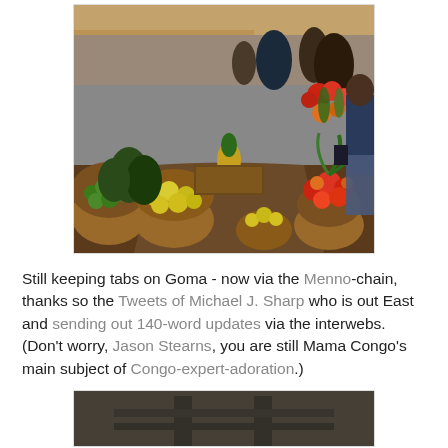[Figure (photo): Outdoor African market scene with baskets of fruits (limes, lemons, mangoes), tropical flowers (red and orange), and people browsing stalls under a canopy. Dense, colorful produce market in what appears to be Goma, Congo.]
Still keeping tabs on Goma - now via the Menno-chain, thanks so the Tweets of Michael J. Sharp who is out East and sending out 140-word updates via the interwebs.  (Don't worry, Jason Stearns, you are still Mama Congo's main subject of Congo-expert-adoration.)
[Figure (photo): Partial view of a second photo at the bottom of the page, appears to show an outdoor scene, partially cropped.]